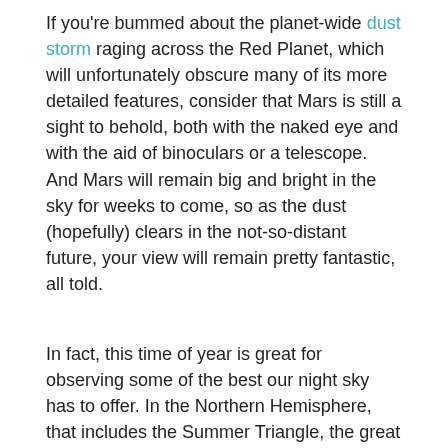If you're bummed about the planet-wide dust storm raging across the Red Planet, which will unfortunately obscure many of its more detailed features, consider that Mars is still a sight to behold, both with the naked eye and with the aid of binoculars or a telescope. And Mars will remain big and bright in the sky for weeks to come, so as the dust (hopefully) clears in the not-so-distant future, your view will remain pretty fantastic, all told.
In fact, this time of year is great for observing some of the best our night sky has to offer. In the Northern Hemisphere, that includes the Summer Triangle, the great globular cluster in Hercules, the Andromeda galaxy, and the big, bright planet Jupiter, which shares the ecliptic with Mars.
And for those in Europe, Africa, Asia, Australia and New Zealand, keep in mind that July 27 — the same date Mars reaches opposition — you'll also get the century's longest total lunar eclipse, with totality lasting a whopping 103 minutes (depending on your location).
And speaking of location, observing in the night sky observing...